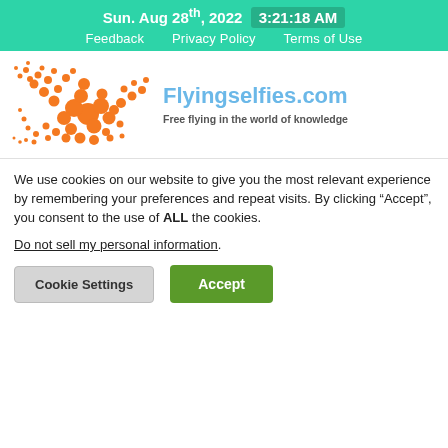Sun. Aug 28th, 2022  3:21:18 AM
Feedback  Privacy Policy  Terms of Use
[Figure (logo): Flyingselfies.com logo: orange dotted bird/dove shape made of circles on the left, with the text 'Flyingselfies.com' in blue and tagline 'Free flying in the world of knowledge' below]
We use cookies on our website to give you the most relevant experience by remembering your preferences and repeat visits. By clicking “Accept”, you consent to the use of ALL the cookies.
Do not sell my personal information.
Cookie Settings  Accept